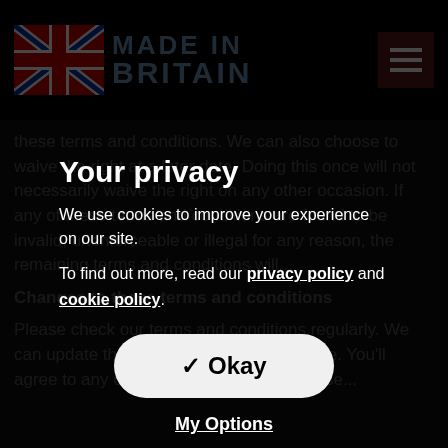[Figure (logo): Made in Britain logo with Union Jack flag icon and brand name text, plus hamburger menu icon on the right]
these terms and conditions. We can also choose to waive the right on any other occasion. If any of these terms and conditions are found to be invalid, unenforceable or illegal for any reason, the remaining terms and conditions will...
Your privacy
We use cookies to improve your experience on our site.
To find out more, read our privacy policy and cookie policy.
Okay
My Options
Changes to these terms and conditions
Please check our terms and conditions regularly. We can update them at any time without notice. You'll agree to any changes if you continue to use...